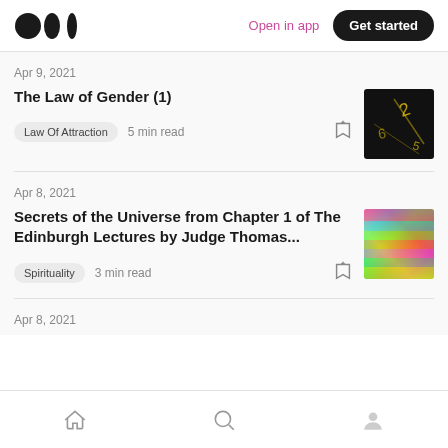Medium logo | Open in app | Get started
Apr 9, 2021
The Law of Gender (1)
Law Of Attraction  5 min read
Apr 8, 2021
Secrets of the Universe from Chapter 1 of The Edinburgh Lectures by Judge Thomas...
Spirituality  3 min read
Apr 8, 2021
Home | Search | Profile